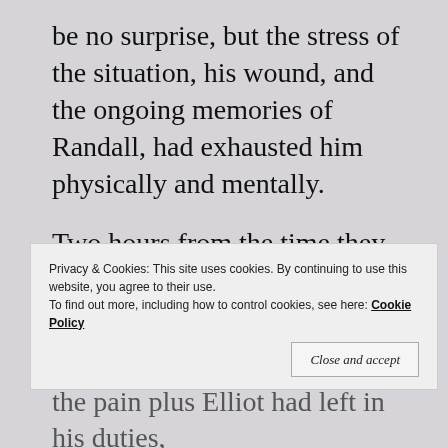be no surprise, but the stress of the situation, his wound, and the ongoing memories of Randall, had exhausted him physically and mentally.

Two hours from the time they left the cabin, he was back at his hotel. A shower, room service, and resisting the call of the mini bar—he prayed Randall Elliott was back behind the locked door where he
Privacy & Cookies: This site uses cookies. By continuing to use this website, you agree to their use.
To find out more, including how to control cookies, see here: Cookie Policy
Close and accept
the pain plus Elliot had left in his duties,